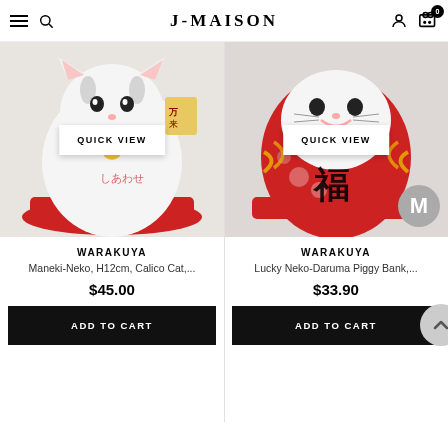J-MAISON
[Figure (photo): Maneki-Neko Calico Cat figurine on red cushion with QUICK VIEW overlay button]
WARAKUYA
Maneki-Neko, H12cm, Calico Cat,...
$45.00
ADD TO CART
[Figure (photo): Lucky Neko-Daruma Piggy Bank red figurine on red cushion with QUICK VIEW overlay button and M avatar badge]
WARAKUYA
Lucky Neko-Daruma Piggy Bank,...
$33.90
ADD TO CART